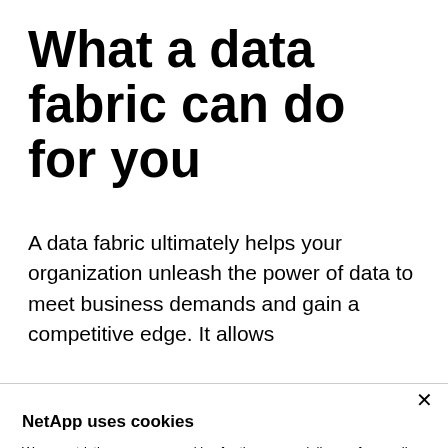What a data fabric can do for you
A data fabric ultimately helps your organization unleash the power of data to meet business demands and gain a competitive edge. It allows
NetApp uses cookies
We use strictly necessary cookies for the proper delivery of our online services. We use other types of cookies to customize experiences and to drive continuous improvement. By closing this banner or by browsing this site, you agree and accept the use of cookies in accordance with our policy.
Accept all cookies
Cookie settings